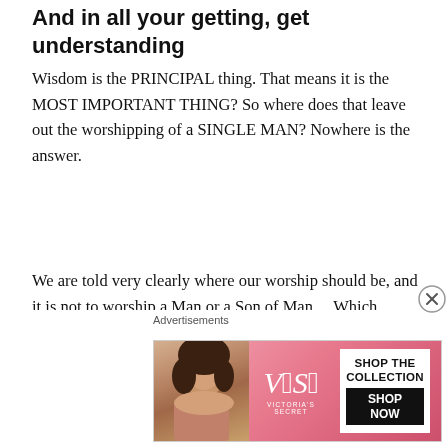And in all your getting, get understanding
Wisdom is the PRINCIPAL thing. That means it is the MOST IMPORTANT THING? So where does that leave out the worshipping of a SINGLE MAN? Nowhere is the answer.
We are told very clearly where our worship should be, and it is not to worship a Man or a Son of Man… Which unfortunately, everyone is doing. They have reduced the Image of the Incorruptible God into the IMAGE of a corruptible MAN. Meaning, there are MILLIONS that
[Figure (photo): Victoria's Secret advertisement banner with a model and 'SHOP THE COLLECTION / SHOP NOW' text]